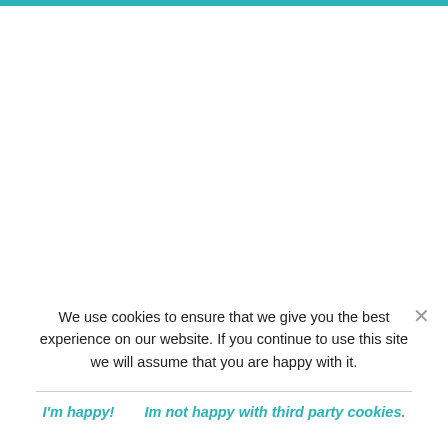We use cookies to ensure that we give you the best experience on our website. If you continue to use this site we will assume that you are happy with it.
I'm happy!    Im not happy with third party cookies.